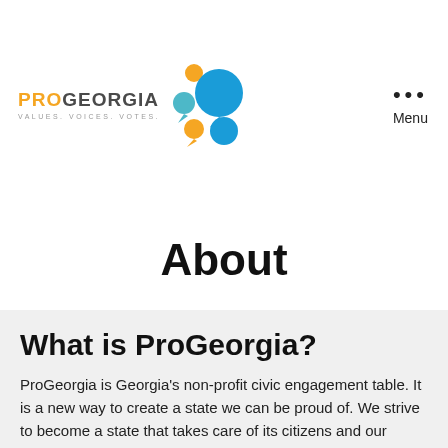[Figure (logo): ProGeorgia logo with orange PRO text, dark GEORGIA text, tagline VALUES. VOICES. VOTES., and colorful speech bubble icons in blue, orange, and teal]
Menu
About
What is ProGeorgia?
ProGeorgia is Georgia's non-profit civic engagement table. It is a new way to create a state we can be proud of. We strive to become a state that takes care of its citizens and our beautiful natural resources. ProGeorgia